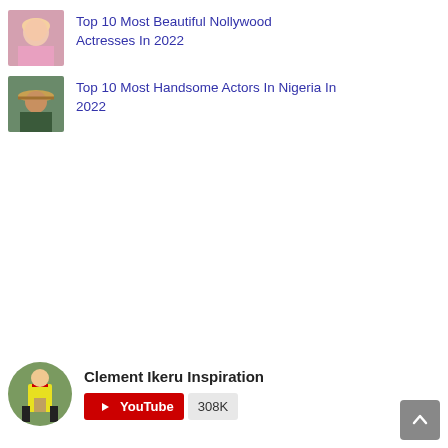[Figure (photo): Thumbnail image of a female actress with blonde hair]
Top 10 Most Beautiful Nollywood Actresses In 2022
[Figure (photo): Thumbnail image of a man wearing a wide-brim hat with hands raised]
Top 10 Most Handsome Actors In Nigeria In 2022
[Figure (photo): Avatar/profile photo of a person in a yellow outfit outdoors]
Clement Ikeru Inspiration
[Figure (logo): YouTube subscribe button with 308K subscriber count]